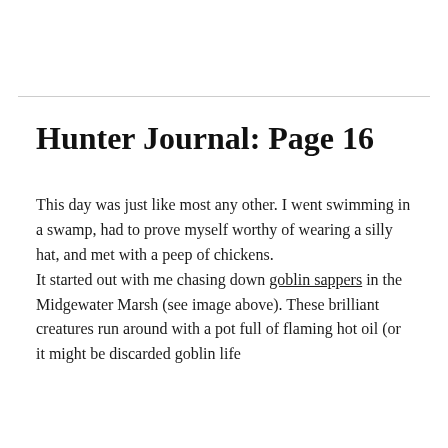Hunter Journal: Page 16
This day was just like most any other. I went swimming in a swamp, had to prove myself worthy of wearing a silly hat, and met with a peep of chickens.
It started out with me chasing down goblin sappers in the Midgewater Marsh (see image above). These brilliant creatures run around with a pot full of flaming hot oil (or it might be discarded goblin life